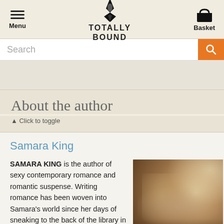Menu | TOTALLY BOUND | Basket
Search
About the author
▲ Click to toggle
Samara King
SAMARA KING is the author of sexy contemporary romance and romantic suspense. Writing romance has been woven into Samara's world since her days of sneaking to the back of the library in grade school...of course, at some point, there was
[Figure (photo): Black and white / sepia photo of Samara King, a woman with long wavy hair, looking downward with her hand near her face]